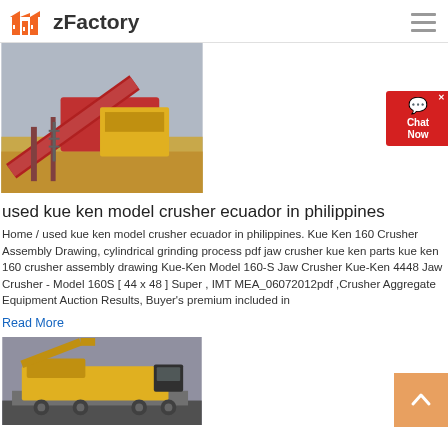zFactory
[Figure (photo): Industrial crusher/screening machine at a quarry site with sand piles]
used kue ken model crusher ecuador in philippines
Home / used kue ken model crusher ecuador in philippines. Kue Ken 160 Crusher Assembly Drawing, cylindrical grinding process pdf jaw crusher kue ken parts kue ken 160 crusher assembly drawing Kue-Ken Model 160-S Jaw Crusher Kue-Ken 4448 Jaw Crusher - Model 160S [ 44 x 48 ] Super , IMT MEA_06072012pdf ,Crusher Aggregate Equipment Auction Results, Buyer's premium included in
Read More
[Figure (photo): Yellow mobile jaw crusher on a transport trailer]